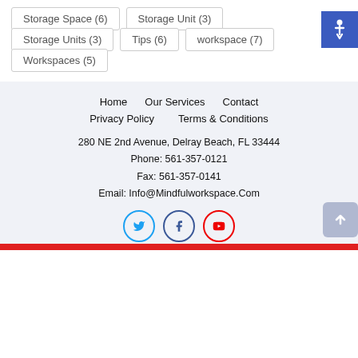Storage Space (6)
Storage Unit (3)
Storage Units (3)
Tips (6)
workspace (7)
Workspaces (5)
Home   Our Services   Contact   Privacy Policy   Terms & Conditions   280 NE 2nd Avenue, Delray Beach, FL 33444   Phone: 561-357-0121   Fax: 561-357-0141   Email: Info@Mindfulworkspace.Com